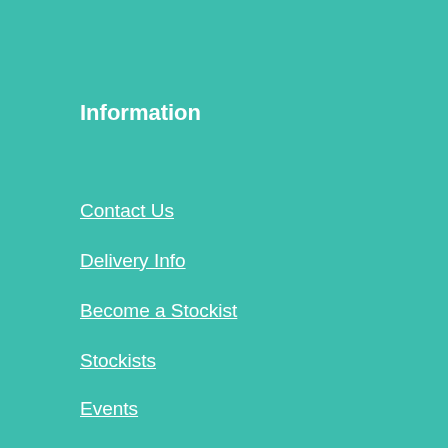Information
Contact Us
Delivery Info
Become a Stockist
Stockists
Events
Policies
Privacy Policy
Refund Policy
Terms & Conditions
Terms of Service
Delivery Policy